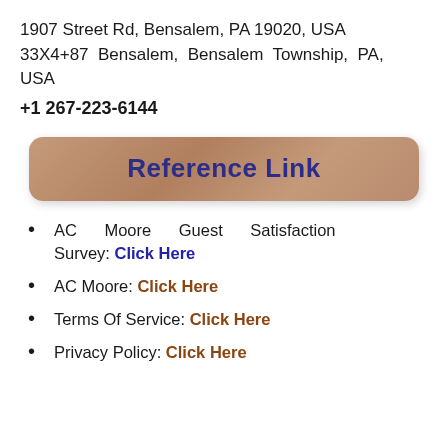1907 Street Rd, Bensalem, PA 19020, USA
33X4+87  Bensalem,  Bensalem  Township,  PA,  USA
+1 267-223-6144
[Figure (other): Reference Link button — a wide rounded rectangular button with a brownish/rose-gold gradient background and bold dark blue text reading 'Reference Link']
AC Moore Guest Satisfaction Survey: Click Here
AC Moore: Click Here
Terms Of Service: Click Here
Privacy Policy: Click Here